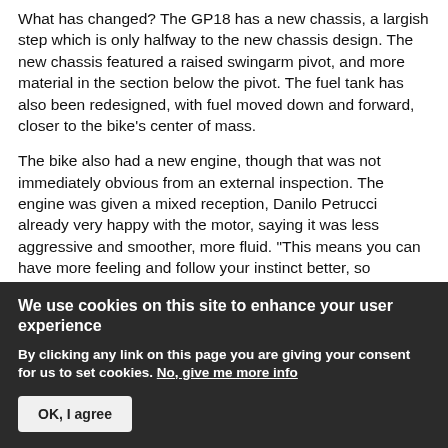What has changed? The GP18 has a new chassis, a largish step which is only halfway to the new chassis design. The new chassis featured a raised swingarm pivot, and more material in the section below the pivot. The fuel tank has also been redesigned, with fuel moved down and forward, closer to the bike's center of mass.
The bike also had a new engine, though that was not immediately obvious from an external inspection. The engine was given a mixed reception, Danilo Petrucci already very happy with the motor, saying it was less aggressive and smoother, more fluid. "This means you can have more feeling and follow your instinct better, so
We use cookies on this site to enhance your user experience
By clicking any link on this page you are giving your consent for us to set cookies. No, give me more info
OK, I agree